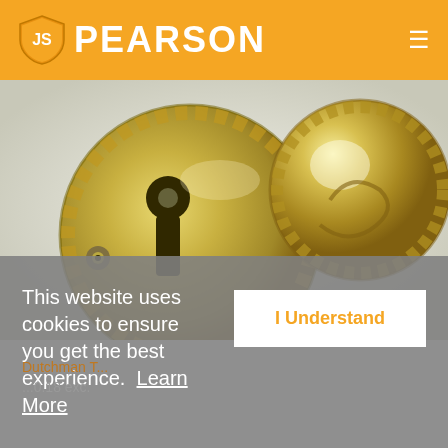PEARSON
[Figure (photo): Close-up photograph of a brass keyhole escutcheon plate with decorative rope-twist border and a matching ornate brass door knob, both in polished brass finish.]
This website uses cookies to ensure you get the best experience.  Learn More
I Understand
Dutchman T... ...0.18 exc. ...